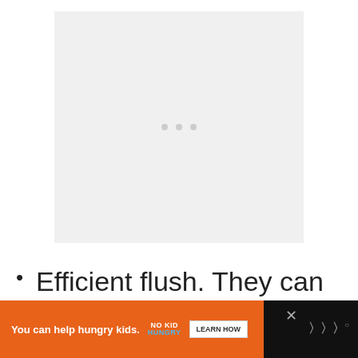[Figure (other): Loading placeholder area with three small grey dots centered in a light grey rectangle, indicating an image or content that is loading.]
Efficient flush. They can push more bulk waste out of the
[Figure (other): Advertisement banner: orange background with text 'You can help hungry kids.' alongside No Kid Hungry logo and a 'LEARN HOW' button, on a dark background with a brand watermark.]